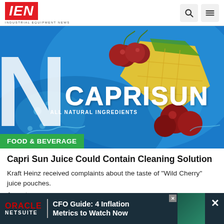IEN - Industrial Equipment News
[Figure (photo): Close-up of Capri Sun juice pouch packaging showing the Capri Sun logo with 'All Natural Ingredients' text, cherries and pineapple fruit imagery on a blue background]
FOOD & BEVERAGE
Capri Sun Juice Could Contain Cleaning Solution
Kraft Heinz received complaints about the taste of "Wild Cherry" juice pouches.
August